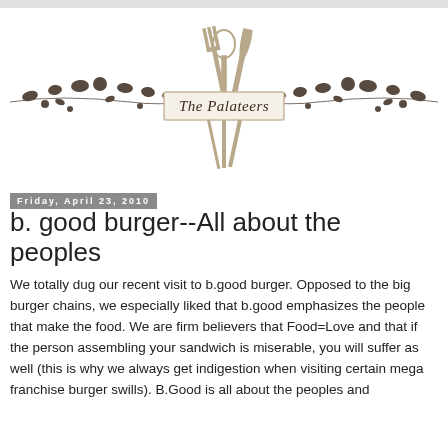[Figure (logo): The Palateers logo with crossed fork, spoon and knife above a rectangular banner reading 'The Palateers', flanked by decorative floral vine branches on either side]
Friday, April 23, 2010
b. good burger--All about the peoples
We totally dug our recent visit to b.good burger. Opposed to the big burger chains, we especially liked that b.good emphasizes the people that make the food. We are firm believers that Food=Love and that if the person assembling your sandwich is miserable, you will suffer as well (this is why we always get indigestion when visiting certain mega franchise burger swills). B.Good is all about the peoples and the…